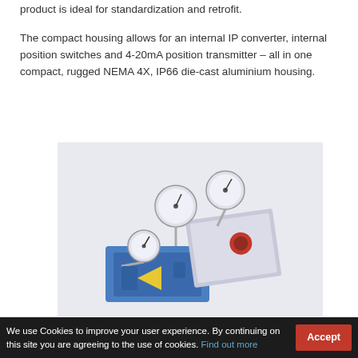product is ideal for standardization and retrofit.
The compact housing allows for an internal IP converter, internal position switches and 4-20mA position transmitter – all in one compact, rugged NEMA 4X, IP66 die-cast aluminium housing.
[Figure (photo): Industrial pneumatic valve positioner/actuator equipment with pressure gauges and control components, shown on a light grey background.]
We use Cookies to improve your user experience. By continuing on this site you are agreeing to the use of cookies. Find out more  Accept